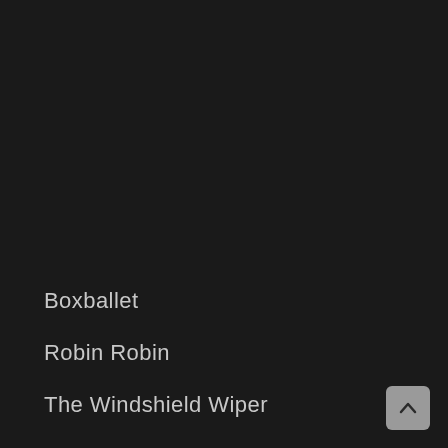Boxballet
Robin Robin
The Windshield Wiper
[Figure (other): A small square button with an upward-pointing arrow, positioned in the bottom-right corner of the page.]